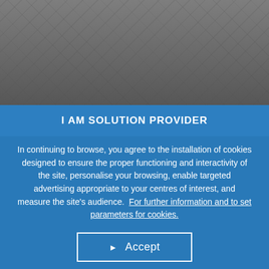[Figure (photo): Aerial black and white photograph of event venue with large tent structures and buildings]
The Event
I AM SOLUTION PROVIDER
In continuing to browse, you agree to the installation of cookies designed to ensure the proper functioning and interactivity of the site, personalise your browsing, enable targeted advertising appropriate to your centres of interest, and measure the site's audience. For further information and to set parameters for cookies.
► Accept